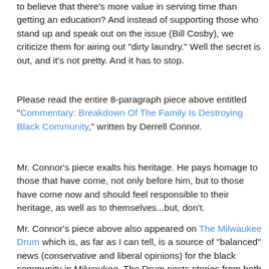to believe that there's more value in serving time than getting an education? And instead of supporting those who stand up and speak out on the issue (Bill Cosby), we criticize them for airing out "dirty laundry." Well the secret is out, and it's not pretty. And it has to stop.
Please read the entire 8-paragraph piece above entitled "Commentary: Breakdown Of The Family Is Destroying Black Community," written by Derrell Connor.
Mr. Connor's piece exalts his heritage. He pays homage to those that have come, not only before him, but to those have come now and should feel responsible to their heritage, as well as to themselves...but, don't.
Mr. Connor's piece above also appeared on The Milwaukee Drum which is, as far as I can tell, is a source of "balanced" news (conservative and liberal opinions) for the black community in Milwaukee. The Drum posts stories from both sides of the political spectrum from left (An Open Letter to our Young, Gifted, Talented and Black) to right (Black Tea